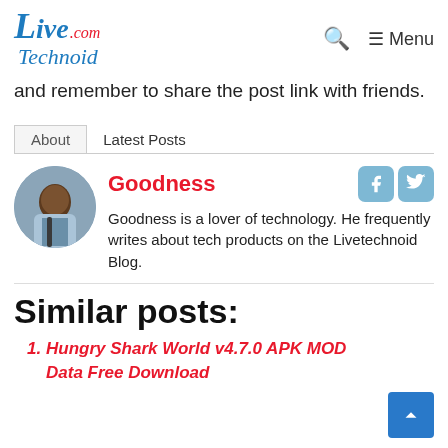LiveTechnoid.com — Menu
and remember to share the post link with friends.
About   Latest Posts
Goodness
Goodness is a lover of technology. He frequently writes about tech products on the Livetechnoid Blog.
Similar posts:
Hungry Shark World v4.7.0 APK MOD Data Free Download